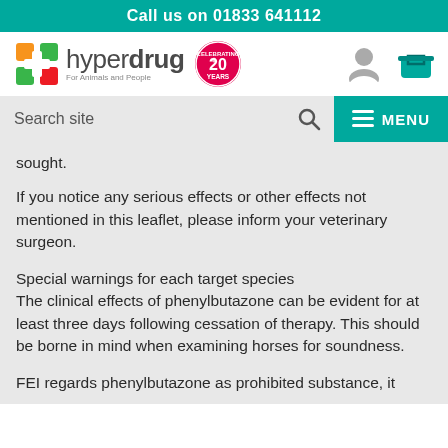Call us on 01833 641112
[Figure (logo): Hyperdrug logo with cross icon, '20 Years Celebrating' badge, and tagline 'For Animals and People']
Search site
sought.
If you notice any serious effects or other effects not mentioned in this leaflet, please inform your veterinary surgeon.
Special warnings for each target species
The clinical effects of phenylbutazone can be evident for at least three days following cessation of therapy. This should be borne in mind when examining horses for soundness.
FEI regards phenylbutazone as prohibited substance, it